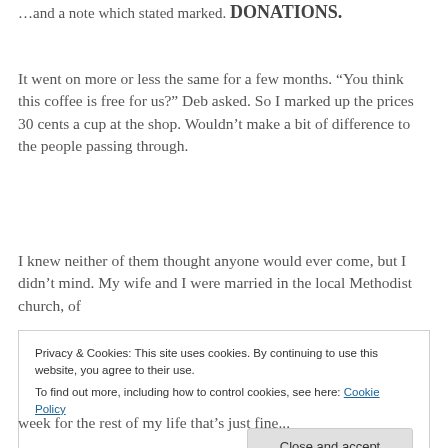…and a note which stated DONATIONS.
It went on more or less the same for a few months. “You think this coffee is free for us?” Deb asked. So I marked up the prices 30 cents a cup at the shop. Wouldn’t make a bit of difference to the people passing through.
I knew neither of them thought anyone would ever come, but I didn’t mind. My wife and I were married in the local Methodist church, of
Privacy & Cookies: This site uses cookies. By continuing to use this website, you agree to their use.
To find out more, including how to control cookies, see here: Cookie Policy
week for the rest of my life that’s just fine...